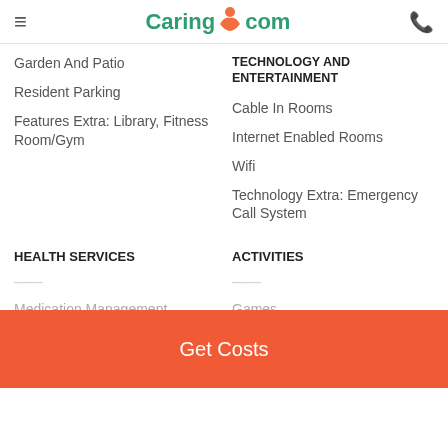Caring.com
Garden And Patio
Resident Parking
Features Extra: Library, Fitness Room/Gym
TECHNOLOGY AND ENTERTAINMENT
Cable In Rooms
Internet Enabled Rooms
Wifi
Technology Extra: Emergency Call System
HEALTH SERVICES
ACTIVITIES
Medication Management
Games
Stories